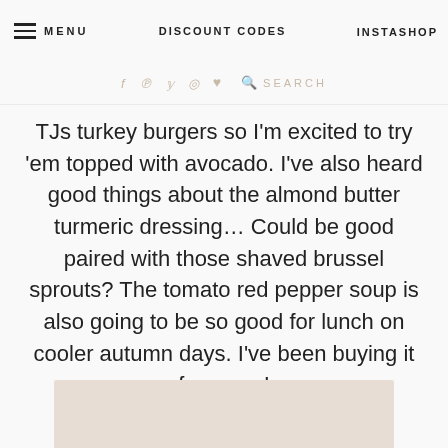MENU | DISCOUNT CODES | INSTASHOP
TJs turkey burgers so I'm excited to try 'em topped with avocado. I've also heard good things about the almond butter turmeric dressing… Could be good paired with those shaved brussel sprouts? The tomato red pepper soup is also going to be so good for lunch on cooler autumn days. I've been buying it for years!
[Figure (photo): Partial image at bottom of page, beige/cream colored background, cropped]